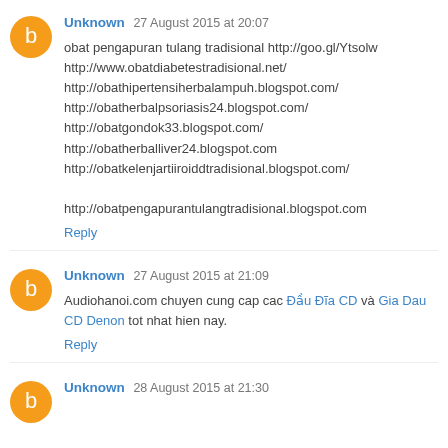Unknown 27 August 2015 at 20:07
obat pengapuran tulang tradisional http://goo.gl/Ytsolw
http://www.obatdiabetestradisional.net/
http://obathipertensiherbalampuh.blogspot.com/
http://obatherbalpsoriasis24.blogspot.com/
http://obatgondok33.blogspot.com/
http://obatherballiver24.blogspot.com
http://obatkelenjartiiroiddtradisional.blogspot.com/
http://obatpengapurantulangtradisional.blogspot.com
Reply
Unknown 27 August 2015 at 21:09
Audiohanoi.com chuyen cung cap cac Đầu Đĩa CD và Gia Dau CD Denon tot nhat hien nay.
Reply
Unknown 28 August 2015 at 21:30